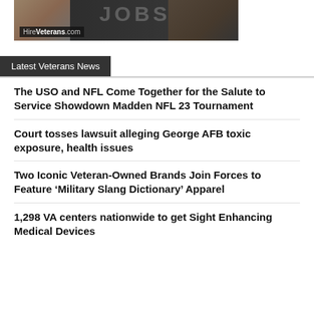[Figure (photo): HireVeterans.com banner advertisement with JOBS text overlay and military imagery]
Latest Veterans News
The USO and NFL Come Together for the Salute to Service Showdown Madden NFL 23 Tournament
Court tosses lawsuit alleging George AFB toxic exposure, health issues
Two Iconic Veteran-Owned Brands Join Forces to Feature ‘Military Slang Dictionary’ Apparel
1,298 VA centers nationwide to get Sight Enhancing Medical Devices